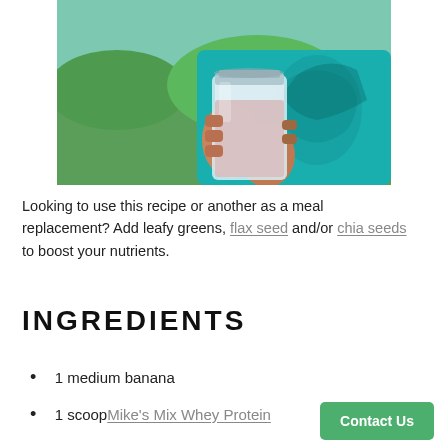[Figure (photo): A person wearing a teal/turquoise t-shirt with a graphic design, holding a mason jar containing a pink/beige smoothie drink, outdoors with green grass in the background.]
Looking to use this recipe or another as a meal replacement? Add leafy greens, flax seed and/or chia seeds to boost your nutrients.
INGREDIENTS
1 medium banana
1 scoop Mike's Mix Whey Protein